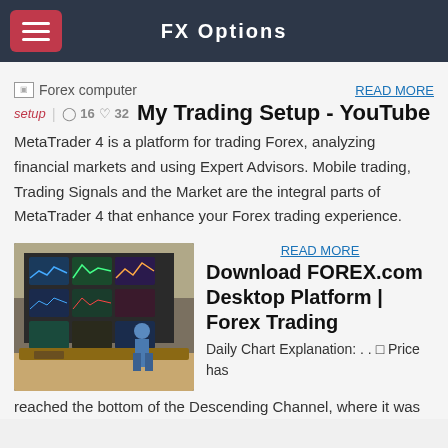FX Options
[Figure (other): Broken image placeholder labeled 'Forex computer']
READ MORE
setup  |  16  32  My Trading Setup - YouTube
MetaTrader 4 is a platform for trading Forex, analyzing financial markets and using Expert Advisors. Mobile trading, Trading Signals and the Market are the integral parts of MetaTrader 4 that enhance your Forex trading experience.
[Figure (photo): Photo of a forex trading setup room with multiple monitors showing charts, a person standing in front of them]
READ MORE
Download FOREX.com Desktop Platform | Forex Trading
Daily Chart Explanation: . . ☐ Price has reached the bottom of the Descending Channel, where it was